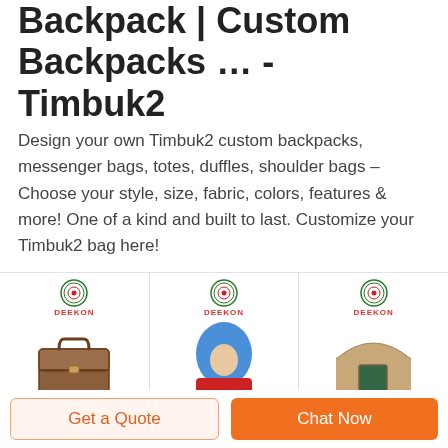Backpack | Custom Backpacks … - Timbuk2
Design your own Timbuk2 custom backpacks, messenger bags, totes, duffles, shoulder bags – Choose your style, size, fabric, colors, features & more! One of a kind and built to last. Customize your Timbuk2 bag here!
[Figure (photo): Three product images each with a DEEKON logo: a brown briefcase/suitcase, a blue balaclava/ski mask with red trim, and a tan tent/structure.]
14 Tougher-Than-Hell